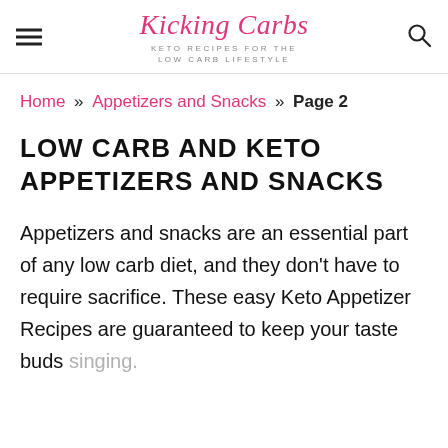Kicking Carbs — KETO RECIPES FOR THE LOW CARB LIFESTYLE
Home » Appetizers and Snacks » Page 2
LOW CARB AND KETO APPETIZERS AND SNACKS
Appetizers and snacks are an essential part of any low carb diet, and they don't have to require sacrifice. These easy Keto Appetizer Recipes are guaranteed to keep your taste buds singing.